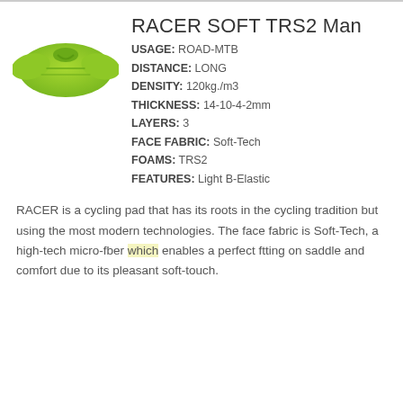[Figure (photo): Green cycling pad / chamois pad shaped product, RACER SOFT TRS2, viewed from above, lime green color]
RACER SOFT TRS2 Man
USAGE: ROAD-MTB
DISTANCE: LONG
DENSITY: 120kg./m3
THICKNESS: 14-10-4-2mm
LAYERS: 3
FACE FABRIC: Soft-Tech
FOAMS: TRS2
FEATURES: Light B-Elastic
RACER is a cycling pad that has its roots in the cycling tradition but using the most modern technologies. The face fabric is Soft-Tech, a high-tech micro-fber which enables a perfect ftting on saddle and comfort due to its pleasant soft-touch.